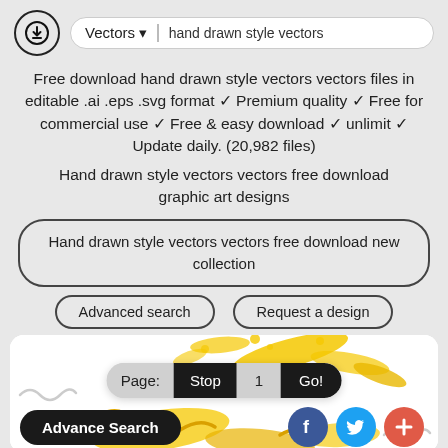Vectors ▾  hand drawn style vectors
Free download hand drawn style vectors vectors files in editable .ai .eps .svg format ✓ Premium quality ✓ Free for commercial use ✓ Free & easy download ✓ unlimit ✓ Update daily. (20,982 files)
Hand drawn style vectors vectors free download graphic art designs
Hand drawn style vectors vectors free download new collection
Advanced search
Request a design
[Figure (screenshot): Yellow splattered food (noodles/pasta) on white background with page navigation bar showing 'Page: Stop 1 Go!', an Advance Search button, and social media icons (Facebook, Twitter, plus button)]